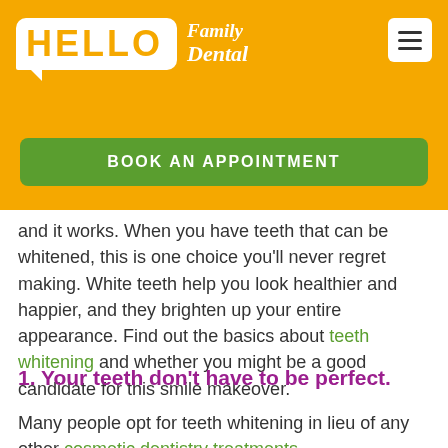[Figure (logo): Hello Family Dental logo on orange background with hamburger menu icon and Book An Appointment green button]
and it works. When you have teeth that can be whitened, this is one choice you'll never regret making. White teeth help you look healthier and happier, and they brighten up your entire appearance. Find out the basics about teeth whitening and whether you might be a good candidate for this smile makeover.
1. Your teeth don't have to be perfect.
Many people opt for teeth whitening in lieu of any other cosmetic dentistry treatments